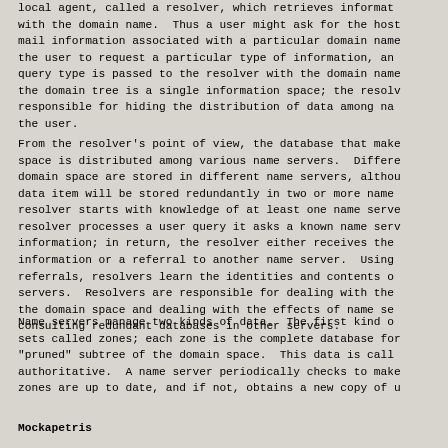local agent, called a resolver, which retrieves informat with the domain name.  Thus a user might ask for the host mail information associated with a particular domain name the user to request a particular type of information, an query type is passed to the resolver with the domain name the domain tree is a single information space; the resolv responsible for hiding the distribution of data among na the user.
From the resolver's point of view, the database that make space is distributed among various name servers.  Differe domain space are stored in different name servers, althou data item will be stored redundantly in two or more name resolver starts with knowledge of at least one name serve resolver processes a user query it asks a known name serv information; in return, the resolver either receives the information or a referral to another name server.  Using referrals, resolvers learn the identities and contents o servers.  Resolvers are responsible for dealing with the the domain space and dealing with the effects of name se consulting redundant databases in other servers.
Name servers manage two kinds of data.  The first kind o sets called zones; each zone is the complete database for "pruned" subtree of the domain space.  This data is call authoritative.  A name server periodically checks to make zones are up to date, and if not, obtains a new copy of u
Mockapetris